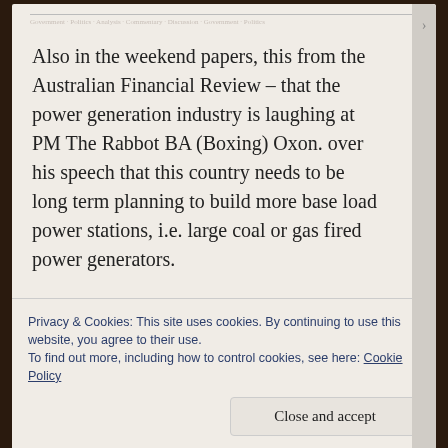Also in the weekend papers, this from the Australian Financial Review – that the power generation industry is laughing at PM The Rabbot BA (Boxing) Oxon. over his speech that this country needs to be long term planning to build more base load power stations, i.e. large coal or gas fired power generators.
They're laughing at him because electricity demand is falling in this country, not rising.
Privacy & Cookies: This site uses cookies. By continuing to use this website, you agree to their use.
To find out more, including how to control cookies, see here: Cookie Policy